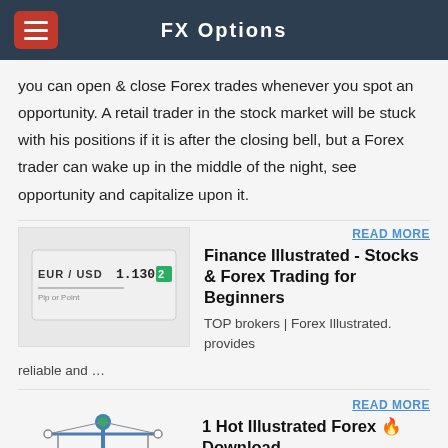FX Options
you can open & close Forex trades whenever you spot an opportunity. A retail trader in the stock market will be stuck with his positions if it is after the closing bell, but a Forex trader can wake up in the middle of the night, see opportunity and capitalize upon it.
[Figure (illustration): EUR/USD 1.1302 pip or point illustration with forex rate display]
READ MORE
Finance Illustrated - Stocks & Forex Trading for Beginners
TOP brokers | Forex Illustrated. provides reliable and …
[Figure (illustration): Balance scale illustration with coin and safe/vault, representing forex trading comparison]
READ MORE
1 Hot Illustrated Forex 🔥 Download - hostmaster.scoopy.best